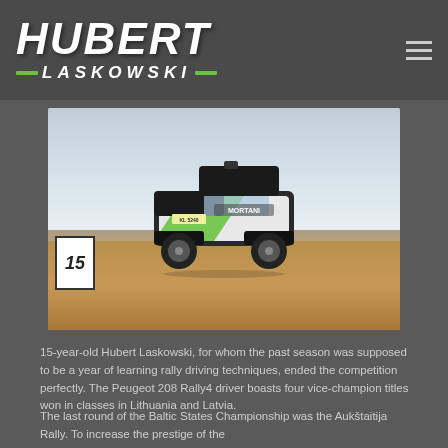HUBERT LASKOWSKI
[Figure (photo): Rally car (Peugeot 208 Rally4 with green/white/black livery) airborne over a dirt mound during a rally stage, cloudy sky background, number board 15 visible on left side]
15-year-old Hubert Laskowski, for whom the past season was supposed to be a year of learning rally driving techniques, ended the competition perfectly. The Peugeot 208 Rally4 driver boasts four vice-champion titles won in classes in Lithuania and Latvia.
The last round of the Baltic States Championship was the Aukštaitija Rally. To increase the prestige of the